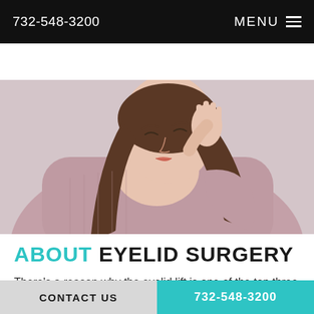732-548-3200   MENU
[Figure (photo): Young woman with long brown hair wearing a pink/mauve knit sweater, looking down with eyes closed, hand raised to her hair, against a light beige background — hero image for eyelid surgery page]
ABOUT EYELID SURGERY
There's a reason why the eyelid lift is one of the top three plastic surgeries performed in the U.S. every year. Patients
CONTACT US   732-548-3200